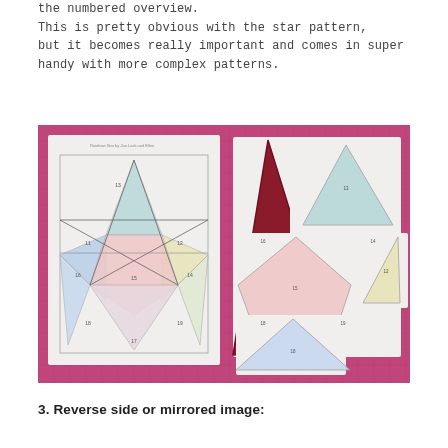the numbered overview.
This is pretty obvious with the star pattern,
but it becomes really important and comes in super
handy with more complex patterns.
[Figure (photo): Photo on a pink/magenta cutting mat. On the left is a white paper sheet showing a 5-pointed star pattern with numbered triangular sections in light pastel colors (pink, blue, green, yellow). On the right are cut-out triangular pieces from the same pattern, separated and laid out on the mat, with a large dark red/maroon triangle shape visible among them.]
3. Reverse side or mirrored image: